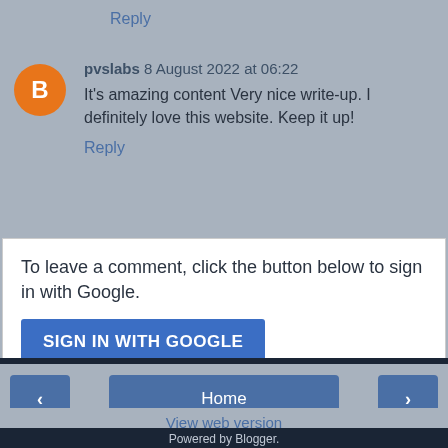Reply
pvslabs 8 August 2022 at 06:22
It's amazing content Very nice write-up. I definitely love this website. Keep it up!
Reply
To leave a comment, click the button below to sign in with Google.
SIGN IN WITH GOOGLE
Home
View web version
Powered by Blogger.